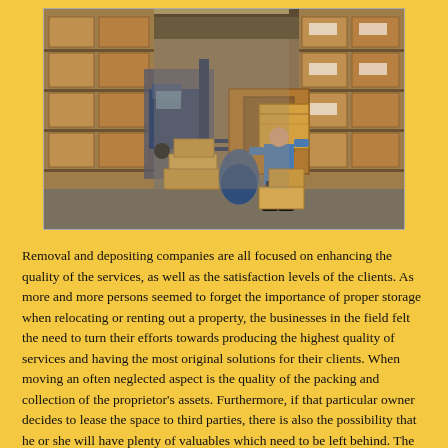[Figure (photo): A warehouse interior showing a worker in a blue shirt carrying a large cardboard box, surrounded by many stacked cardboard boxes and wooden storage crates on shelves. A forklift is visible in the background on the left side.]
Removal and depositing companies are all focused on enhancing the quality of the services, as well as the satisfaction levels of the clients. As more and more persons seemed to forget the importance of proper storage when relocating or renting out a property, the businesses in the field felt the need to turn their efforts towards producing the highest quality of services and having the most original solutions for their clients. When moving an often neglected aspect is the quality of the packing and collection of the proprietor's assets. Furthermore, if that particular owner decides to lease the space to third parties, there is also the possibility that he or she will have plenty of valuables which need to be left behind. The success story of modern day storage unit firms is filled with examples such as this and the reason why some companies manage to stay ahead